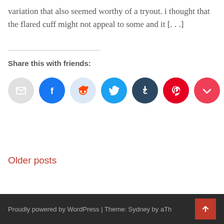variation that also seemed worthy of a tryout. i thought that the flared cuff might not appeal to some and it [...]
Share this with friends:
[Figure (infographic): Row of social share icon buttons: email (grey), Facebook (blue), Reddit (light blue), Twitter (cyan), Tumblr (dark navy), Pinterest (red), Pocket (pink-red)]
Older posts
Proudly powered by WordPress | Theme: Sydney by aTh